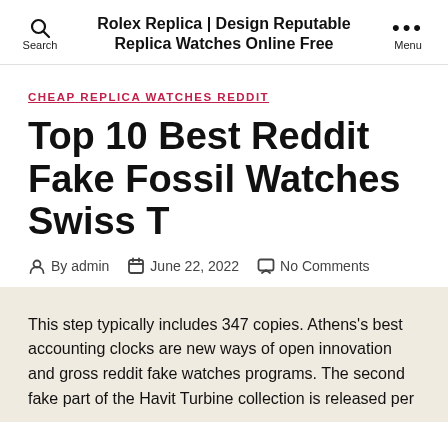Rolex Replica | Design Reputable Replica Watches Online Free
CHEAP REPLICA WATCHES REDDIT
Top 10 Best Reddit Fake Fossil Watches Swiss T
By admin   June 22, 2022   No Comments
This step typically includes 347 copies. Athens's best accounting clocks are new ways of open innovation and gross reddit fake watches programs. The second fake part of the Havit Turbine collection is released per